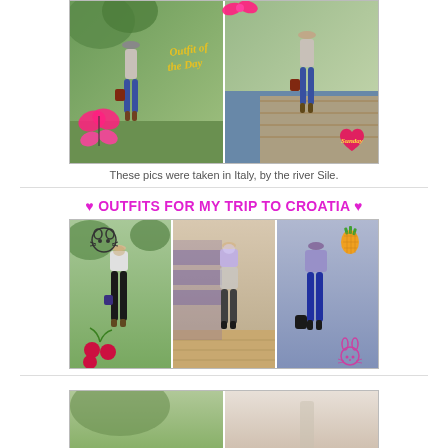[Figure (photo): Two-panel photo collage of a woman in jeans and a graphic tee outdoors by a river. Left panel: woman standing in a green park/garden area. Right panel: same woman on a wooden dock/pier by water. Text overlays include 'Outfit of the Day' in yellow italic script, pink bow decoration, pink butterfly, and a red heart with 'Sunday' in yellow text.]
These pics were taken in Italy, by the river Sile.
♥ OUTFITS FOR MY TRIP TO CROATIA ♥
[Figure (photo): Three-panel photo collage showing outfit photos. Left panel: woman in dark pants and floral top in a garden. Middle panel: woman in floral shorts and black top indoors. Right panel: woman in jeans and dark top. Decorative emoji/stickers: cat face (top left), pineapple (top right), cherries (bottom left), bunny face (bottom right).]
[Figure (photo): Partially visible two-panel photo collage at the bottom of the page, showing greenery/outdoor scene. Content is cut off.]